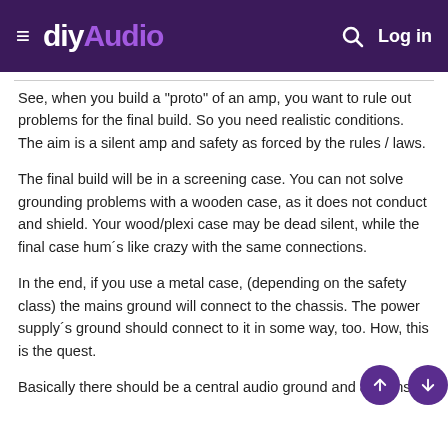diyAudio — Log in
See, when you build a "proto" of an amp, you want to rule out problems for the final build. So you need realistic conditions. The aim is a silent amp and safety as forced by the rules / laws.
The final build will be in a screening case. You can not solve grounding problems with a wooden case, as it does not conduct and shield. Your wood/plexi case may be dead silent, while the final case hum´s like crazy with the same connections.
In the end, if you use a metal case, (depending on the safety class) the mains ground will connect to the chassis. The power supply´s ground should connect to it in some way, too. How, this is the quest.
Basically there should be a central audio ground and a mains